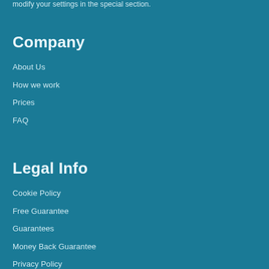modify your settings in the special section.
Company
About Us
How we work
Prices
FAQ
Legal Info
Cookie Policy
Free Guarantee
Guarantees
Money Back Guarantee
Privacy Policy